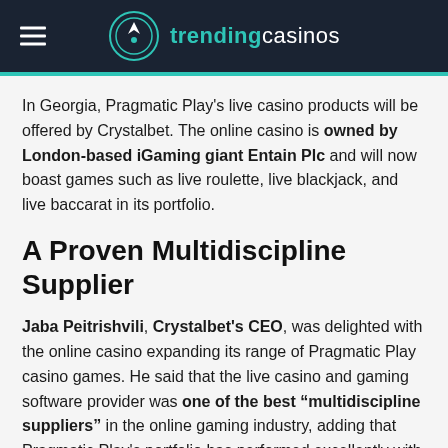trending casinos
In Georgia, Pragmatic Play's live casino products will be offered by Crystalbet. The online casino is owned by London-based iGaming giant Entain Plc and will now boast games such as live roulette, live blackjack, and live baccarat in its portfolio.
A Proven Multidiscipline Supplier
Jaba Peitrishvili, Crystalbet's CEO, was delighted with the online casino expanding its range of Pragmatic Play casino games. He said that the live casino and gaming software provider was one of the best "multidiscipline suppliers" in the online gaming industry, adding that Pragmatic Play's portfolio has performed excellently with their customers in Georgia.
Peitrishvili said that bringing Pragmatic Play's live dealer titles to Georgian players was a "natural